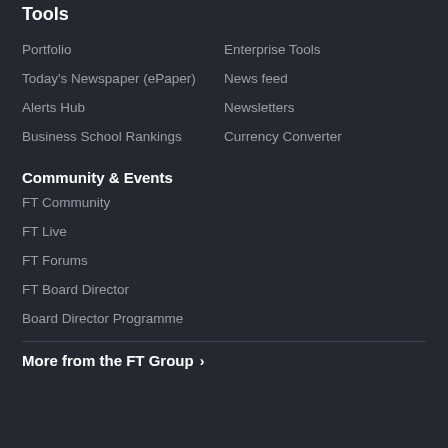Tools
Portfolio
Enterprise Tools
Today's Newspaper (ePaper)
News feed
Alerts Hub
Newsletters
Business School Rankings
Currency Converter
Community & Events
FT Community
FT Live
FT Forums
FT Board Director
Board Director Programme
More from the FT Group ›